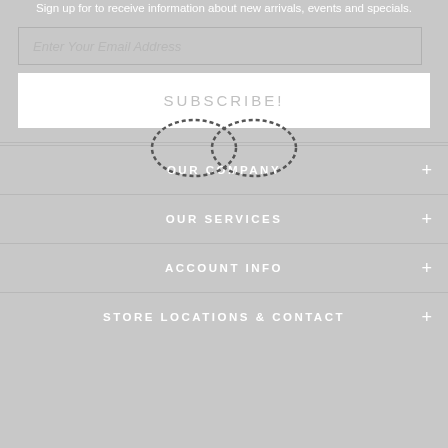Sign up for to receive information about new arrivals, events and specials.
[Figure (other): Email address input field with placeholder text 'Enter Your Email Address']
[Figure (other): Subscribe button with text 'SUBSCRIBE!']
[Figure (other): Infinity symbol made of dotted pattern, overlaid on navigation section]
OUR COMPANY
OUR SERVICES
ACCOUNT INFO
STORE LOCATIONS & CONTACT